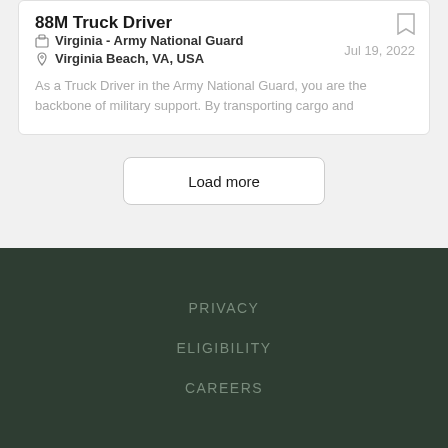88M Truck Driver
Virginia - Army National Guard
Virginia Beach, VA, USA
Jul 19, 2022
As a Truck Driver in the Army National Guard, you are the backbone of military support. By transporting cargo and
Load more
PRIVACY
ELIGIBILITY
CAREERS